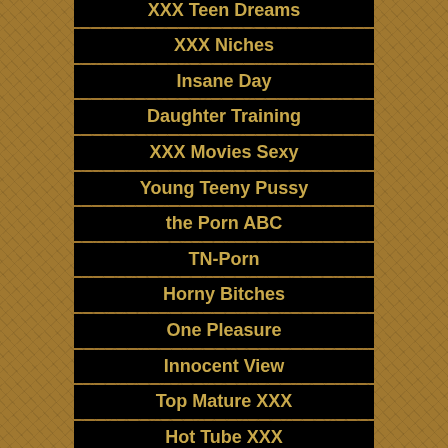Pussy Crave
XXX Teen Dreams
XXX Niches
Insane Day
Daughter Training
XXX Movies Sexy
Young Teeny Pussy
the Porn ABC
TN-Porn
Horny Bitches
One Pleasure
Innocent View
Top Mature XXX
Hot Tube XXX
XXX Free Mature